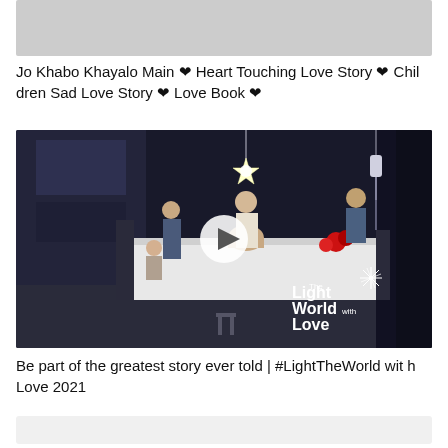[Figure (photo): Partially visible image strip at top of page, light grey placeholder]
Jo Khabo Khayalo Main ❤ Heart Touching Love Story ❤ Children Sad Love Story ❤ Love Book ❤
[Figure (screenshot): Video thumbnail showing a dark hospital room scene with people gathered around a patient in bed, a star-shaped light hanging from above, IV drip visible, red flowers on the bed. Play button overlay in center. Bottom right shows 'Light The World with Love' branding with a starburst icon.]
Be part of the greatest story ever told | #LightTheWorld with Love 2021